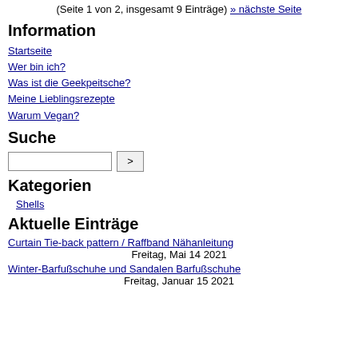(Seite 1 von 2, insgesamt 9 Einträge) » nächste Seite
Information
Startseite
Wer bin ich?
Was ist die Geekpeitsche?
Meine Lieblingsrezepte
Warum Vegan?
Suche
Kategorien
Shells
Aktuelle Einträge
Curtain Tie-back pattern / Raffband Nähanleitung
Freitag, Mai 14 2021
Winter-Barfußschuhe und Sandalen Barfußschuhe
Freitag, Januar 15 2021